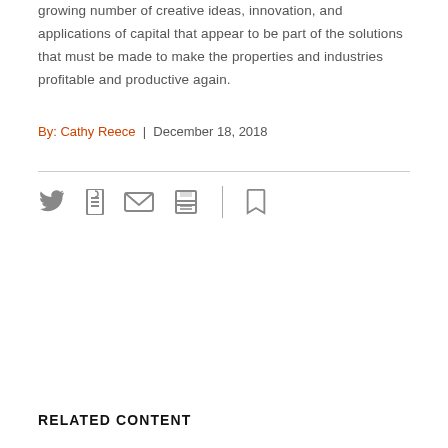growing number of creative ideas, innovation, and applications of capital that appear to be part of the solutions that must be made to make the properties and industries profitable and productive again.
By: Cathy Reece | December 18, 2018
[Figure (other): Social sharing icons: Twitter, Facebook, Email, Print, Bookmark]
RELATED CONTENT